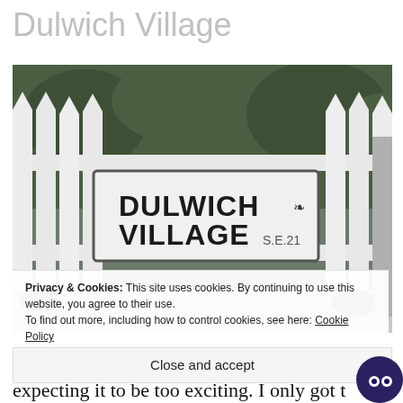Dulwich Village
[Figure (photo): A photo of a white picket fence with a black and white London street sign reading 'DULWICH VILLAGE S.E.21' mounted on it, with green foliage visible behind the fence.]
Privacy & Cookies: This site uses cookies. By continuing to use this website, you agree to their use. To find out more, including how to control cookies, see here: Cookie Policy
Close and accept
expecting it to be too exciting. I only got t